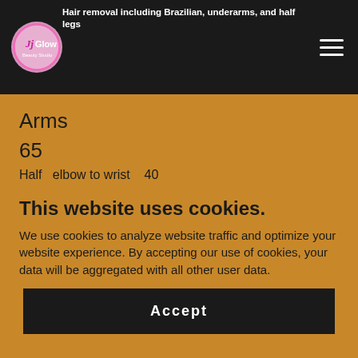Hair removal including Brazilian, underarms, and half legs
Arms
65
Half   elbow to wrist     40
This website uses cookies.
We use cookies to analyze website traffic and optimize your website experience. By accepting our use of cookies, your data will be aggregated with all other user data.
Accept